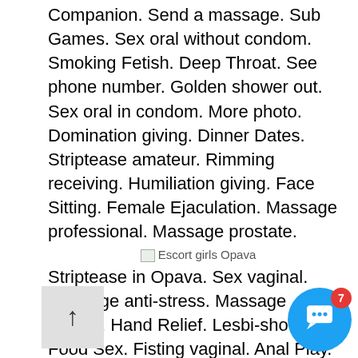Companion. Send a massage. Sub Games. Sex oral without condom. Smoking Fetish. Deep Throat. See phone number. Golden shower out. Sex oral in condom. More photo. Domination giving. Dinner Dates. Striptease amateur. Rimming receiving. Humiliation giving. Face Sitting. Female Ejaculation. Massage professional. Massage prostate.
[Figure (photo): Broken image placeholder with alt text 'Escort girls Opava']
Striptease in Opava. Sex vaginal. Massage anti-stress. Massage classic. Hand Relief. Lesbi-show soft. Food Sex. Fisting vaginal. Anal Play. Strap On. Cum on breast. Spanking giving. Lesbi-show hard. Sex lesbian. Oral Without at discretion. Massage erotic. Group Girl Anfisa. Sex anal. Role playing. Pole Dancing. Students Hooker Ludovica. Striptease pro. Slender Female Sofia. Watersports Giving.
Fast Girl Irene. Cross Dressing. Oral in Opava.
[Figure (photo): Broken image placeholder with alt text 'SEX AGENCY in Opava']